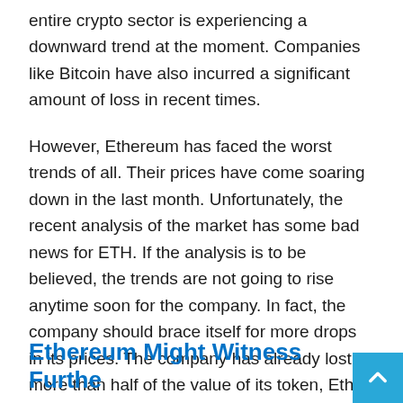entire crypto sector is experiencing a downward trend at the moment. Companies like Bitcoin have also incurred a significant amount of loss in recent times.
However, Ethereum has faced the worst trends of all. Their prices have come soaring down in the last month. Unfortunately, the recent analysis of the market has some bad news for ETH. If the analysis is to be believed, the trends are not going to rise anytime soon for the company. In fact, the company should brace itself for more drops in its prices. The company has already lost more than half of the value of its token, Ether. They have also suffered drastic losses in comparison to Bitcoin. The prices of the company currently stand well below $2000. Let us learn more about the story in detail below.
Ethereum Might Witness Furthe